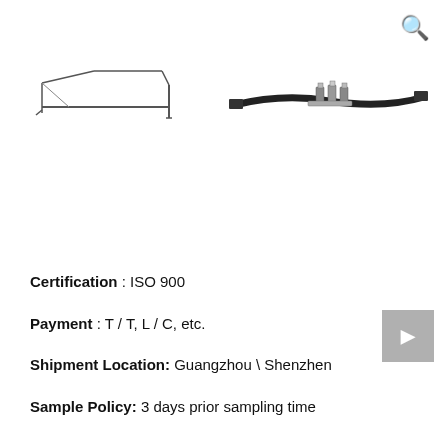[Figure (photo): Two product images side by side: left shows a frame/bracket component in outline/wireframe view; right shows the same or similar product assembled with hardware, in a realistic view with dark blade and metal connectors.]
Certification  : ISO 900
Payment : T / T, L / C, etc.
Shipment Location: Guangzhou \ Shenzhen
Sample Policy: 3 days prior sampling time